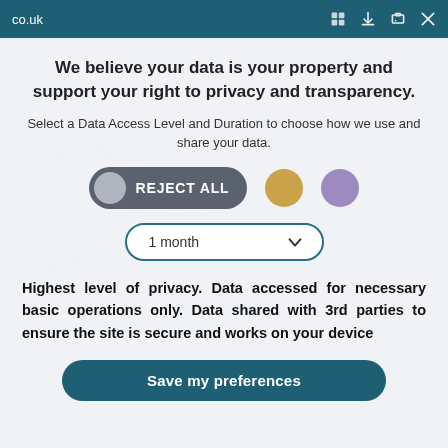co.uk
We believe your data is your property and support your right to privacy and transparency.
Select a Data Access Level and Duration to choose how we use and share your data.
[Figure (infographic): Privacy consent UI with REJECT ALL toggle button (dark grey pill shape with grey circle), a gold circle option, and a purple circle option]
[Figure (infographic): Dropdown selector showing '1 month' with a chevron down arrow, styled as a rounded pill with teal border]
Highest level of privacy. Data accessed for necessary basic operations only. Data shared with 3rd parties to ensure the site is secure and works on your device
Save my preferences